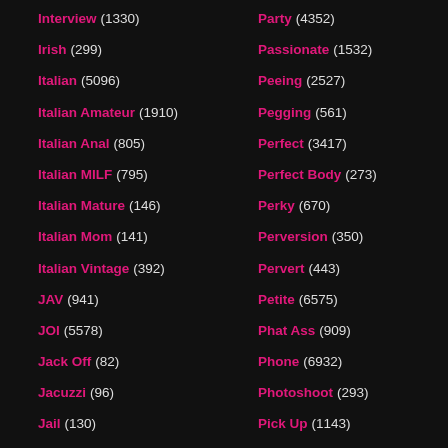Interview (1330)
Irish (299)
Italian (5096)
Italian Amateur (1910)
Italian Anal (805)
Italian MILF (795)
Italian Mature (146)
Italian Mom (141)
Italian Vintage (392)
JAV (941)
JOI (5578)
Jack Off (82)
Jacuzzi (96)
Jail (130)
Japanese (16734)
Party (4352)
Passionate (1532)
Peeing (2527)
Pegging (561)
Perfect (3417)
Perfect Body (273)
Perky (670)
Perversion (350)
Pervert (443)
Petite (6575)
Phat Ass (909)
Phone (6932)
Photoshoot (293)
Pick Up (1143)
Pierced Nipples (257)